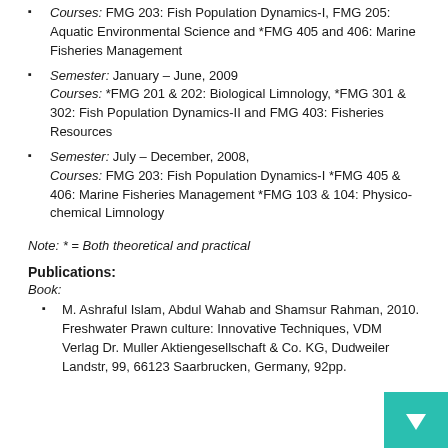Courses: FMG 203: Fish Population Dynamics-I, FMG 205: Aquatic Environmental Science and *FMG 405 and 406: Marine Fisheries Management
Semester: January – June, 2009
Courses: *FMG 201 & 202: Biological Limnology, *FMG 301 & 302: Fish Population Dynamics-II and FMG 403: Fisheries Resources
Semester: July – December, 2008,
Courses: FMG 203: Fish Population Dynamics-I *FMG 405 & 406: Marine Fisheries Management *FMG 103 & 104: Physico-chemical Limnology
Note: * = Both theoretical and practical
Publications:
Book:
M. Ashraful Islam, Abdul Wahab and Shamsur Rahman, 2010. Freshwater Prawn culture: Innovative Techniques, VDM Verlag Dr. Muller Aktiengesellschaft & Co. KG, Dudweiler Landstr, 99, 66123 Saarbrucken, Germany, 92pp.